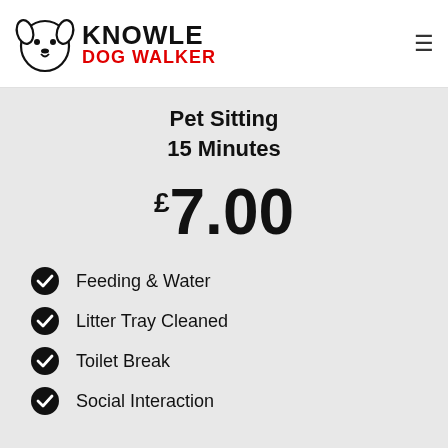[Figure (logo): Knowle Dog Walker logo with dog face outline and text]
Pet Sitting
15 Minutes
£7.00
Feeding & Water
Litter Tray Cleaned
Toilet Break
Social Interaction